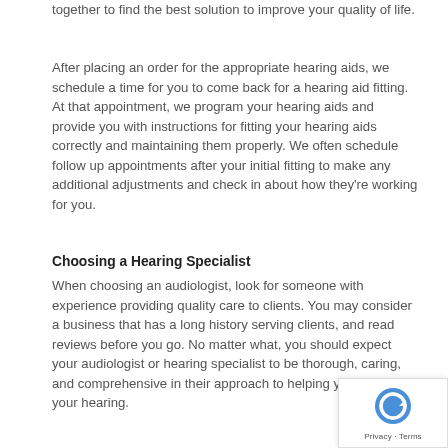together to find the best solution to improve your quality of life.
After placing an order for the appropriate hearing aids, we schedule a time for you to come back for a hearing aid fitting. At that appointment, we program your hearing aids and provide you with instructions for fitting your hearing aids correctly and maintaining them properly. We often schedule follow up appointments after your initial fitting to make any additional adjustments and check in about how they're working for you.
Choosing a Hearing Specialist
When choosing an audiologist, look for someone with experience providing quality care to clients. You may consider a business that has a long history serving clients, and read reviews before you go. No matter what, you should expect your audiologist or hearing specialist to be thorough, caring, and comprehensive in their approach to helping you regain your hearing.